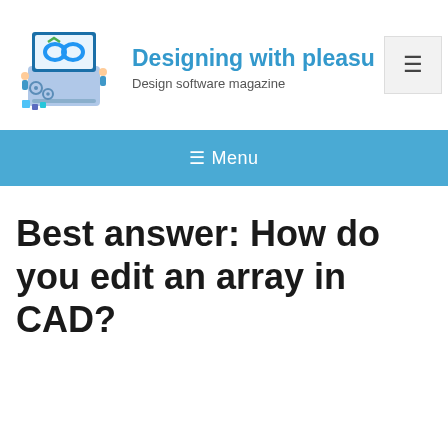[Figure (illustration): Isometric illustration of a laptop with design software on screen, two figures working around it with gears and digital elements]
Designing with pleas…
Design software magazine
[Figure (other): Hamburger menu button (three horizontal lines) in a light grey square]
≡ Menu
Best answer: How do you edit an array in CAD?